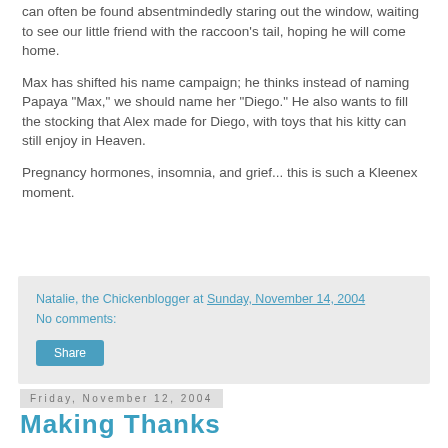can often be found absentmindedly staring out the window, waiting to see our little friend with the raccoon's tail, hoping he will come home.
Max has shifted his name campaign; he thinks instead of naming Papaya "Max," we should name her "Diego." He also wants to fill the stocking that Alex made for Diego, with toys that his kitty can still enjoy in Heaven.
Pregnancy hormones, insomnia, and grief... this is such a Kleenex moment.
Natalie, the Chickenblogger at Sunday, November 14, 2004
No comments:
Share
Friday, November 12, 2004
Making Thanks